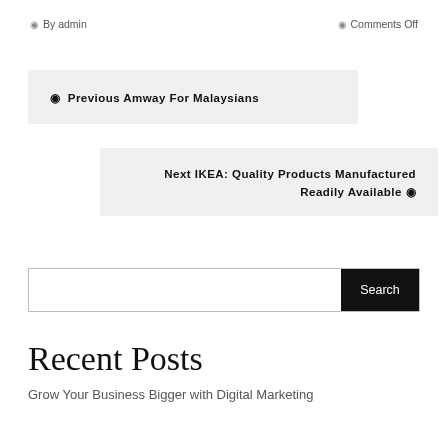◉ By admin
◉ Comments Off
◉ Previous Amway For Malaysians
Next IKEA: Quality Products Manufactured Readily Available ◉
Search
Recent Posts
Grow Your Business Bigger with Digital Marketing